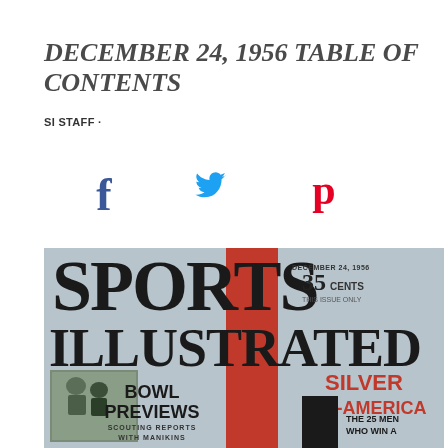DECEMBER 24, 1956 TABLE OF CONTENTS
SI STAFF ·
[Figure (illustration): Social media share icons: Facebook (f), Twitter (bird), Pinterest (p)]
[Figure (photo): Sports Illustrated magazine cover dated December 24, 1956, 35 cents. Features large masthead text SPORTS ILLUSTRATED with a red vertical stripe. Shows Bowl Previews with scouting reports with manikins, Silver All-America, and The 25 Men Who Win A sections. Small photo of football players in bottom left corner.]